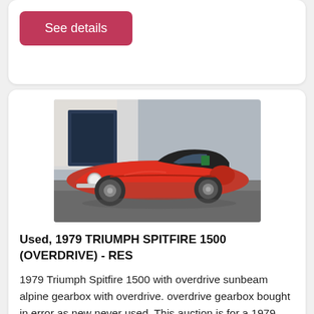[Figure (other): Pink/red 'See details' button on white card background]
[Figure (photo): Red 1979 Triumph Spitfire 1500 classic car photographed from slightly elevated front-quarter angle in a garage forecourt]
Used, 1979 TRIUMPH SPITFIRE 1500 (OVERDRIVE) - RES
1979 Triumph Spitfire 1500 with overdrive sunbeam alpine gearbox with overdrive. overdrive gearbox bought in error as new never used. This auction is for a 1979